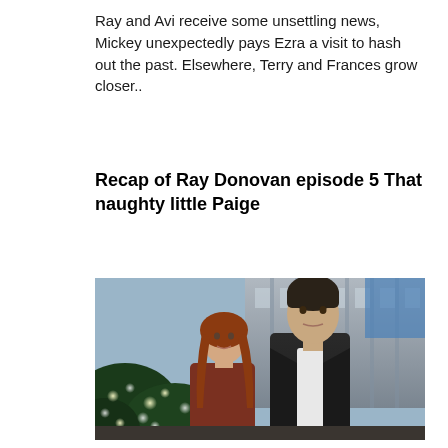Ray and Avi receive some unsettling news, Mickey unexpectedly pays Ezra a visit to hash out the past. Elsewhere, Terry and Frances grow closer..
Recap of Ray Donovan episode 5 That naughty little Paige
[Figure (photo): A man in a dark suit with an open white shirt and a woman with long auburn hair stand together outdoors in front of a building with bokeh holiday lights in the background.]